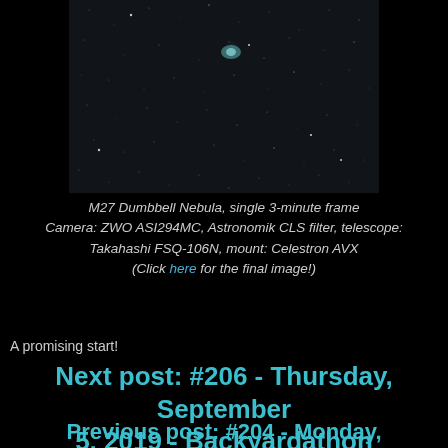[Figure (photo): Astrophotography image of M27 Dumbbell Nebula - a faint greenish nebula visible among stars against a dark sky. Single 3-minute exposure.]
M27 Dumbbell Nebula, single 3-minute frame Camera: ZWO ASI294MC, Astronomik CLS filter, telescope: Takahashi FSQ-106N, mount: Celestron AVX (Click here for the final image!)
A promising start!
Next post: #206 - Thursday, September 5, 2019 - Backyardathon
Previous post: #204 - Monday, September 2, 2019 - Working Out the